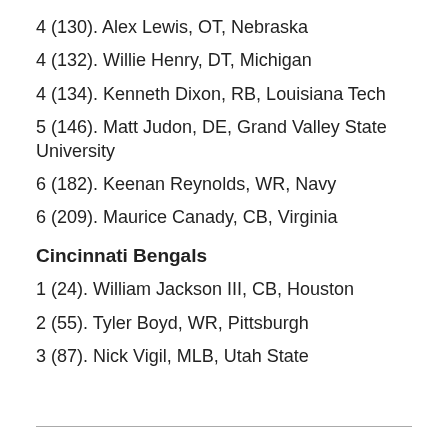4 (130). Alex Lewis, OT, Nebraska
4 (132). Willie Henry, DT, Michigan
4 (134). Kenneth Dixon, RB, Louisiana Tech
5 (146). Matt Judon, DE, Grand Valley State University
6 (182). Keenan Reynolds, WR, Navy
6 (209). Maurice Canady, CB, Virginia
Cincinnati Bengals
1 (24). William Jackson III, CB, Houston
2 (55). Tyler Boyd, WR, Pittsburgh
3 (87). Nick Vigil, MLB, Utah State